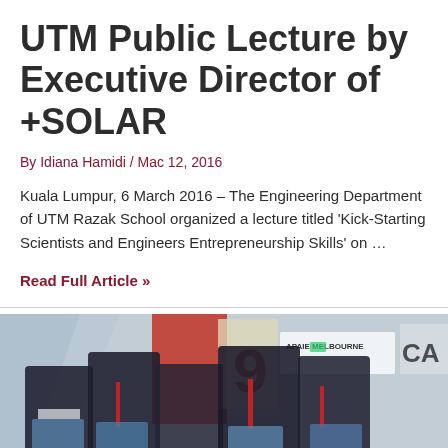UTM Public Lecture by Executive Director of +SOLAR
By Idiana Hamidi / Mac 12, 2016
Kuala Lumpur, 6 March 2016 – The Engineering Department of UTM Razak School organized a lecture titled 'Kick-Starting Scientists and Engineers Entrepreneurship Skills' on …
Read Full Article »
[Figure (photo): Group photo of five people in formal attire holding brochures at a conference venue, with APAIE Melbourne banner visible in the background]